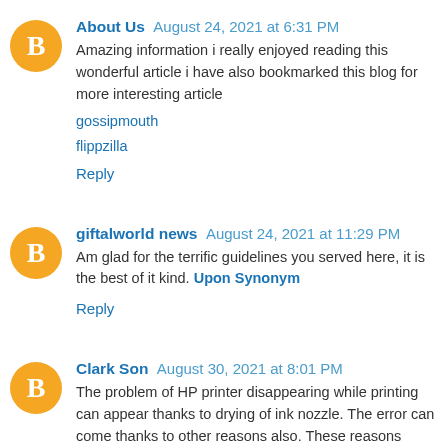About Us  August 24, 2021 at 6:31 PM
Amazing information i really enjoyed reading this wonderful article i have also bookmarked this blog for more interesting article
gossipmouth
flippzilla
Reply
giftalworld news  August 24, 2021 at 11:29 PM
Am glad for the terrific guidelines you served here, it is the best of it kind. Upon Synonym
Reply
Clark Son  August 30, 2021 at 8:01 PM
The problem of HP printer disappearing while printing can appear thanks to drying of ink nozzle. The error can come thanks to other reasons also. These reasons include the